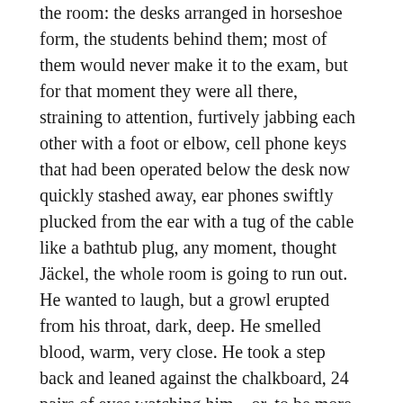the room: the desks arranged in horseshoe form, the students behind them; most of them would never make it to the exam, but for that moment they were all there, straining to attention, furtively jabbing each other with a foot or elbow, cell phone keys that had been operated below the desk now quickly stashed away, ear phones swiftly plucked from the ear with a tug of the cable like a bathtub plug, any moment, thought Jäckel, the whole room is going to run out.
He wanted to laugh, but a growl erupted from his throat, dark, deep. He smelled blood, warm, very close. He took a step back and leaned against the chalkboard, 24 pairs of eyes watching him – or, to be more exact, his right hand. Jäckel checked it with his left hand and caught the end of the loosened bandage. He felt the burning again – the pulse beat in his palm as though his heart were making its way outside. He felt his sleeve sticking to his